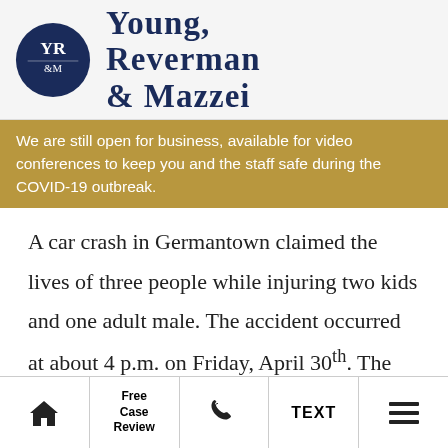Young, Reverman & Mazzei
We are still open for business, available for video conferences to keep you and the staff safe during the COVID-19 outbreak.
A car crash in Germantown claimed the lives of three people while injuring two kids and one adult male. The accident occurred at about 4 p.m. on Friday, April 30th. The German Township Police investigators described the accident as a rollover crash from two vehicles colliding
Home | Free Case Review | Phone | TEXT | Menu